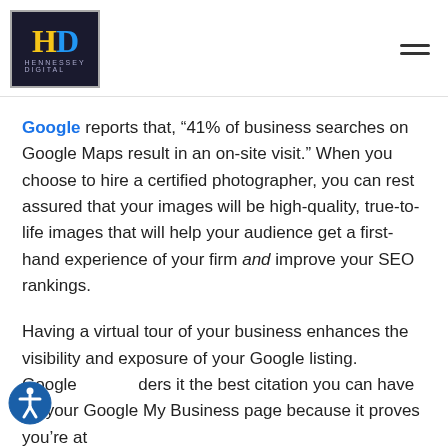Hennessey Digital logo and navigation
Google reports that, “41% of business searches on Google Maps result in an on-site visit.” When you choose to hire a certified photographer, you can rest assured that your images will be high-quality, true-to-life images that will help your audience get a first-hand experience of your firm and improve your SEO rankings.
Having a virtual tour of your business enhances the visibility and exposure of your Google listing. Google considers it the best citation you can have on your Google My Business page because it proves you’re at